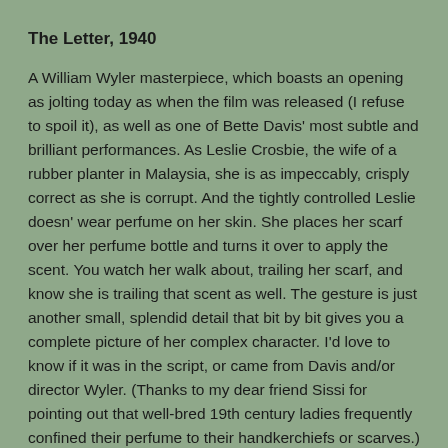The Letter, 1940
A William Wyler masterpiece, which boasts an opening as jolting today as when the film was released (I refuse to spoil it), as well as one of Bette Davis' most subtle and brilliant performances. As Leslie Crosbie, the wife of a rubber planter in Malaysia, she is as impeccably, crisply correct as she is corrupt. And the tightly controlled Leslie doesn' wear perfume on her skin. She places her scarf over her perfume bottle and turns it over to apply the scent. You watch her walk about, trailing her scarf, and know she is trailing that scent as well. The gesture is just another small, splendid detail that bit by bit gives you a complete picture of her complex character. I'd love to know if it was in the script, or came from Davis and/or director Wyler. (Thanks to my dear friend Sissi for pointing out that well-bred 19th century ladies frequently confined their perfume to their handkerchiefs or scarves.)
Meet Me in St. Louis, 1944
If you are one of those people who ask, "Why do some gay